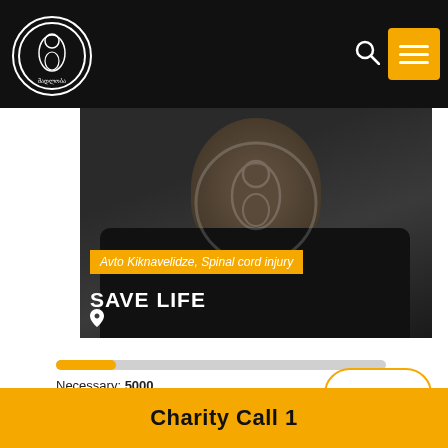[Figure (logo): Circular logo with white border on black background, featuring a stylized mother and child figure with Georgian script text]
[Figure (photo): Person wearing black t-shirt, partially visible, with watermark logo overlay. Charity campaign photo for Avto Kiknavelidze with spinal cord injury.]
Avto Kiknavelidze, Spinal cord injury
SAVE LIFE
Necessary: 5000
Amount transferred: 1500
Help
Charity Call 1